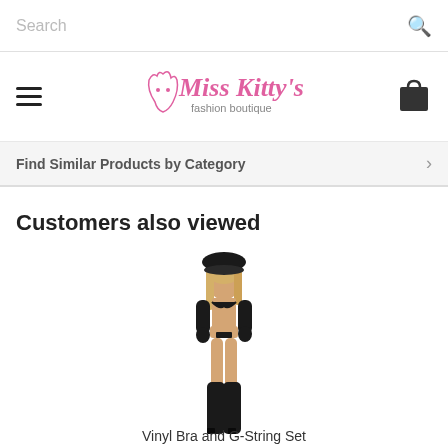Search
[Figure (logo): Miss Kitty's fashion boutique logo with stylized cursive pink text and cat silhouette]
Find Similar Products by Category
Customers also viewed
[Figure (photo): Model wearing a Vinyl Bra and G-String Set with black vinyl accessories including hat, gloves, and boots]
Vinyl Bra and G-String Set